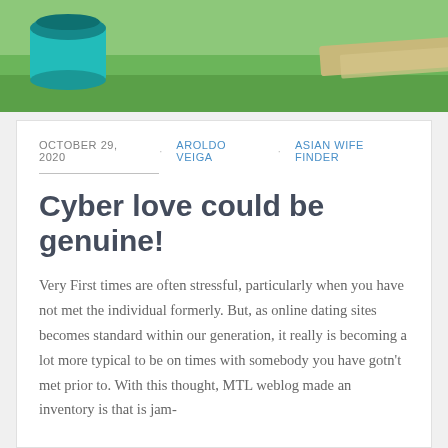[Figure (photo): Outdoor photo banner showing green grass lawn with teal/turquoise objects on the left and a path/stepping stone visible on the right]
OCTOBER 29, 2020   AROLDO VEIGA   ASIAN WIFE FINDER
Cyber love could be genuine!
Very First times are often stressful, particularly when you have not met the individual formerly. But, as online dating sites becomes standard within our generation, it really is becoming a lot more typical to be on times with somebody you have gotn't met prior to. With this thought, MTL weblog made an inventory is that is jam-